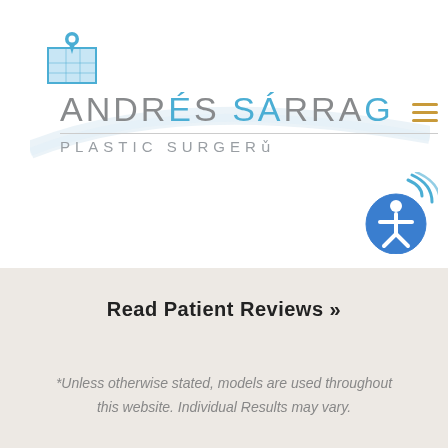[Figure (logo): Map pin / location icon in blue]
ANDRÉS SÁRRAG PLASTIC SURGERY
[Figure (other): Hamburger menu icon with three orange horizontal lines]
[Figure (other): Accessibility icon - blue circle with person figure and sound waves]
Read Patient Reviews »
*Unless otherwise stated, models are used throughout this website. Individual Results may vary.